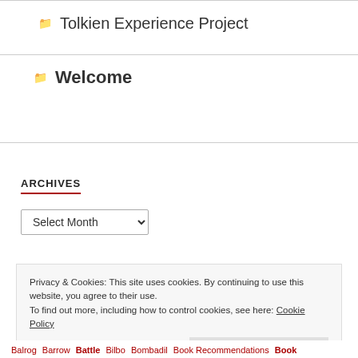Tolkien Experience Project
Welcome
ARCHIVES
Select Month
Privacy & Cookies: This site uses cookies. By continuing to use this website, you agree to their use. To find out more, including how to control cookies, see here: Cookie Policy
Close and accept
Balrog Barrow Battle Bilbo Bombadil Book Recommendations Book